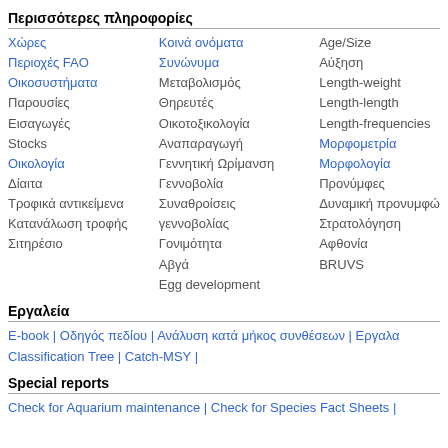Περισσότερες πληροφορίες
Χώρες | Περιοχές FAO | Οικοσυστήματα | Παρουσίες | Εισαγωγές | Stocks | Οικολογία | Δίαιτα | Τροφικά αντικείμενα | Κατανάλωση τροφής | Σιτηρέσιο
Κοινά ονόματα | Συνώνυμα | Μεταβολισμός | Θηρευτές | Οικοτοξικολογία | Αναπαραγωγή | Γεννητική Ωρίμανση | Γεννοβολία | Συναθροίσεις | γεννοβολίας | Γονιμότητα | Αβγά | Egg development
Age/Size | Αύξηση | Length-weight | Length-length | Length-frequencies | Μορφομετρία | Μορφολογία | Προνύμφες | Δυναμική προνυμφώ | Στρατολόγηση | Αφθονία | BRUVS
Εργαλεία
E-book | Οδηγός πεδίου | Ανάλυση κατά μήκος συνθέσεων | Εργαλα Classification Tree | Catch-MSY |
Special reports
Check for Aquarium maintenance | Check for Species Fact Sheets |